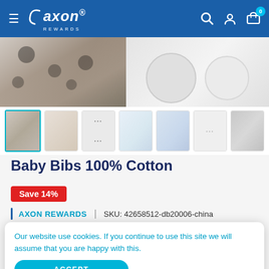axon REWARDS
[Figure (photo): Partial product image showing baby bib being worn, cropped at top of page]
[Figure (photo): Row of 7 product thumbnail images of baby bibs in various patterns and colors]
Baby Bibs 100% Cotton
Save 14%
AXON REWARDS  |  SKU: 42658512-db20006-china
Our website use cookies. If you continue to use this site we will assume that you are happy with this.
ACCEPT